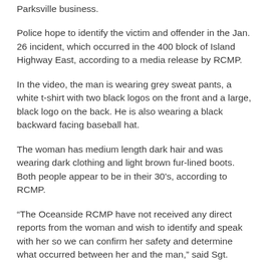Parksville business.
Police hope to identify the victim and offender in the Jan. 26 incident, which occurred in the 400 block of Island Highway East, according to a media release by RCMP.
In the video, the man is wearing grey sweat pants, a white t-shirt with two black logos on the front and a large, black logo on the back. He is also wearing a black backward facing baseball hat.
The woman has medium length dark hair and was wearing dark clothing and light brown fur-lined boots. Both people appear to be in their 30's, according to RCMP.
“The Oceanside RCMP have not received any direct reports from the woman and wish to identify and speak with her so we can confirm her safety and determine what occurred between her and the man,” said Sgt.